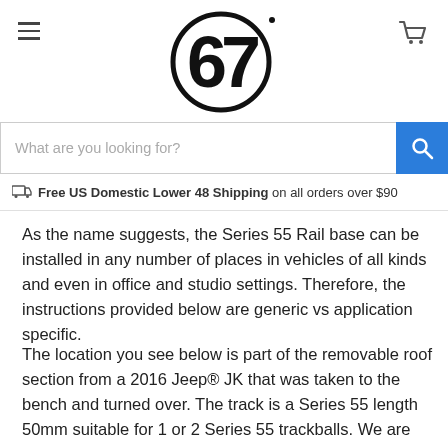67 Design logo, hamburger menu, cart icon
What are you looking for?
Free US Domestic Lower 48 Shipping on all orders over $90
As the name suggests, the Series 55 Rail base can be installed in any number of places in vehicles of all kinds and even in office and studio settings. Therefore, the instructions provided below are generic vs application specific.
The location you see below is part of the removable roof section from a 2016 Jeep® JK that was taken to the bench and turned over. The track is a Series 55 length 50mm suitable for 1 or 2 Series 55 trackballs. We are showing the installation onto a surface where the primary constraint is to work along the ref...